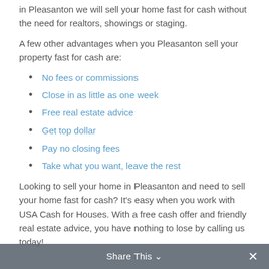in Pleasanton we will sell your home fast for cash without the need for realtors, showings or staging.
A few other advantages when you Pleasanton sell your property fast for cash are:
No fees or commissions
Close in as little as one week
Free real estate advice
Get top dollar
Pay no closing fees
Take what you want, leave the rest
Looking to sell your home in Pleasanton and need to sell your home fast for cash? It’s easy when you work with USA Cash for Houses. With a free cash offer and friendly real estate advice, you have nothing to lose by calling us today!
Share This ∨